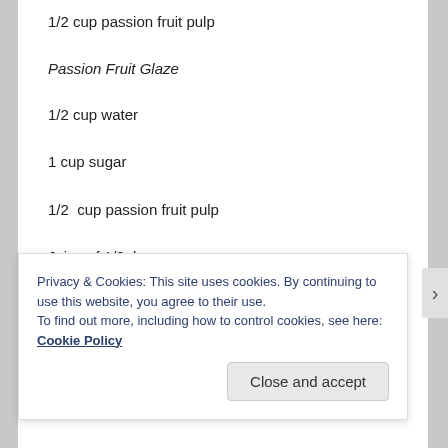1/2 cup passion fruit pulp
Passion Fruit Glaze
1/2 cup water
1 cup sugar
1/2  cup passion fruit pulp
Juice of 1/2  lemon
Garnish
Privacy & Cookies: This site uses cookies. By continuing to use this website, you agree to their use.
To find out more, including how to control cookies, see here: Cookie Policy